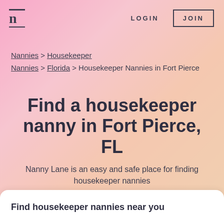n  LOGIN  JOIN
Nannies > Housekeeper
Nannies > Florida > Housekeeper Nannies in Fort Pierce
Find a housekeeper nanny in Fort Pierce, FL
Nanny Lane is an easy and safe place for finding housekeeper nannies
Find housekeeper nannies near you